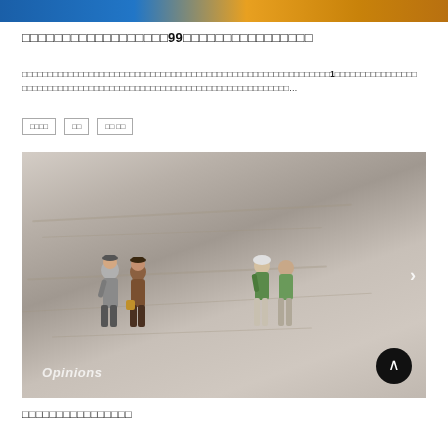[Figure (photo): Top banner image with blue and gold/yellow gradient colors]
□□□□□□□□□□□□□□□□□□99□□□□□□□□□□□□□□□□
□□□□□□□□□□□□□□□□□□□□□□□□□□□□□□□□□□□□□□□□□□□□□□□□□□□□□□□□□□□□1□□□□□□□□□□□□□□□□□□□□□□□□□□□□□□□□□□□□□□□□□□□□□□□□□□□□□□□□□□□...
□□□□
□□
□□ □□
[Figure (photo): Photo of miniature elderly figurines standing on Japanese yen banknotes, with 'Opinions' watermark text overlay and a right arrow navigation indicator]
□□□□□□□□□□□□□□□□